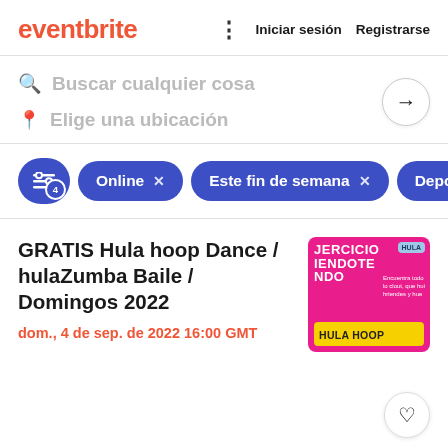eventbrite · Iniciar sesión · Registrarse
Buscar cualquier cosa
Elige una ubicación
Online × Este fin de semana × Depor
GRATIS Hula hoop Dance / hulaZumba Baile / Domingos 2022
dom., 4 de sep. de 2022 16:00 GMT
[Figure (photo): Event promotional image for Hula Hoop Dance class in pink background with yellow HULA HOOP banner]